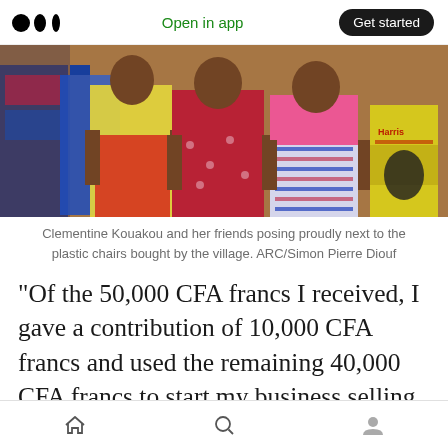Open in app  Get started
[Figure (photo): Three women standing side by side in colorful African dresses/skirts, posed in front of blue plastic chairs. Items including a yellow bag of goods (Harris brand) visible on the right side.]
Clementine Kouakou and her friends posing proudly next to the plastic chairs bought by the village. ARC/Simon Pierre Diouf
“Of the 50,000 CFA francs I received, I gave a contribution of 10,000 CFA francs and used the remaining 40,000 CFA francs to start my business selling soap and cakes. Thanks to this, I manage to have a profit of 1,000 to 1,500 CFA
Home  Search  Profile